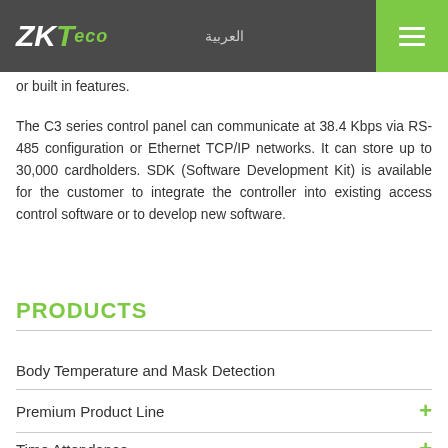ZKTeco | العربية
or built in features.
The C3 series control panel can communicate at 38.4 Kbps via RS-485 configuration or Ethernet TCP/IP networks. It can store up to 30,000 cardholders. SDK (Software Development Kit) is available for the customer to integrate the controller into existing access control software or to develop new software.
PRODUCTS
Body Temperature and Mask Detection
Premium Product Line
Time Attendance